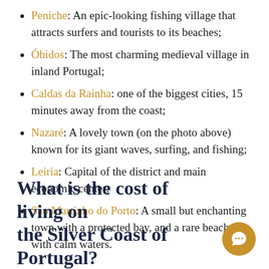Peniche: An epic-looking fishing village that attracts surfers and tourists to its beaches;
Óbidos: The most charming medieval village in inland Portugal;
Caldas da Rainha: one of the biggest cities, 15 minutes away from the coast;
Nazaré: A lovely town (on the photo above) known for its giant waves, surfing, and fishing;
Leiria: Capital of the district and main economic center;
São Martinho do Porto: A small but enchanting town with a protected bay, and a rare beach with calm waters.
What is the cost of living on the Silver Coast of Portugal?